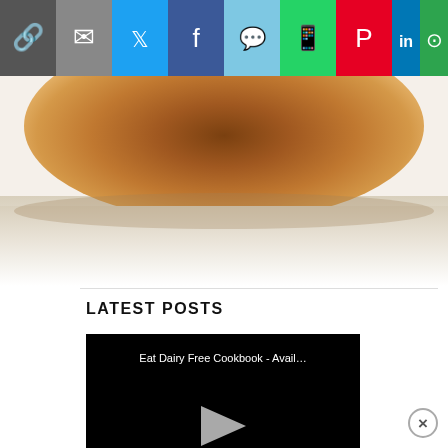[Figure (screenshot): Social media share bar with icons: link, email, Twitter, Facebook, SMS, WhatsApp, Pinterest, LinkedIn, and More]
[Figure (photo): Top portion of a bread bun or burger bun on a light surface, cropped at top]
LATEST POSTS
[Figure (screenshot): Video thumbnail with black background showing title 'Eat Dairy Free Cookbook - Avail...' and a play button triangle in the center]